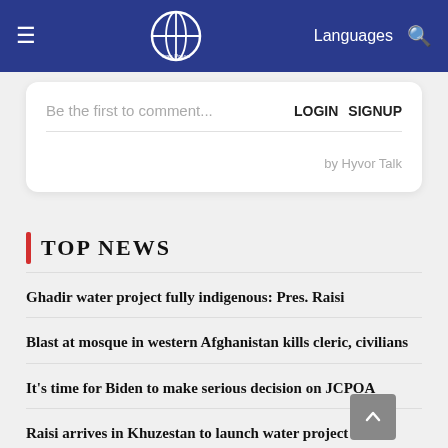Iran Press — Languages
Be the first to comment...   LOGIN   SIGNUP
by Hyvor Talk
TOP NEWS
Ghadir water project fully indigenous: Pres. Raisi
Blast at mosque in western Afghanistan kills cleric, civilians
It's time for Biden to make serious decision on JCPOA
Raisi arrives in Khuzestan to launch water project